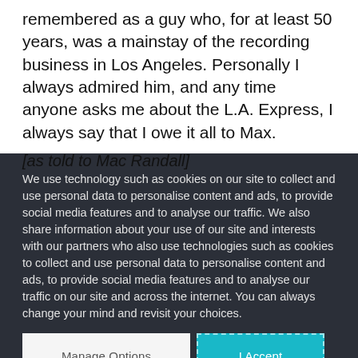remembered as a guy who, for at least 50 years, was a mainstay of the recording business in Los Angeles. Personally I always admired him, and any time anyone asks me about the L.A. Express, I always say that I owe it all to Max.
[as told to Mac Randall]
We use technology such as cookies on our site to collect and use personal data to personalise content and ads, to provide social media features and to analyse our traffic. We also share information about your use of our site and interests with our partners who also use technologies such as cookies to collect and use personal data to personalise content and ads, to provide social media features and to analyse our traffic on our site and across the internet. You can always change your mind and revisit your choices.